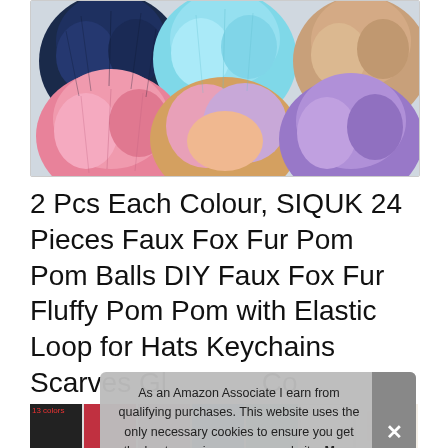[Figure (photo): Collection of colorful faux fur pom pom balls arranged in two rows. Back row: dark navy, light blue/mint, and tan/brown pom poms. Front row: pink, multicolor (orange/pink/lavender), and purple/lavender pom poms.]
2 Pcs Each Colour, SIQUK 24 Pieces Faux Fox Fur Pom Pom Balls DIY Faux Fox Fur Fluffy Pom Pom with Elastic Loop for Hats Keychains Scarves Gloves... Colours
As an Amazon Associate I earn from qualifying purchases. This website uses the only necessary cookies to ensure you get the best experience on our website. More information
[Figure (photo): Thumbnail strip showing product color options at the bottom of the page.]